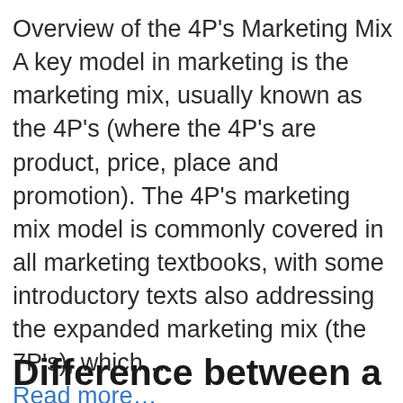Overview of the 4P's Marketing Mix A key model in marketing is the marketing mix, usually known as the 4P's (where the 4P's are product, price, place and promotion). The 4P's marketing mix model is commonly covered in all marketing textbooks, with some introductory texts also addressing the expanded marketing mix (the 7P's), which … Read more…
Introductory Concepts, Marketing Mix
Difference between a